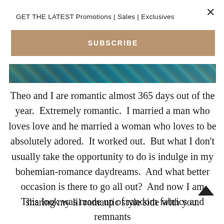×
GET THE LATEST Promotions | Sales | Exclusives
SUBSCRIBE
[Figure (photo): Colorful image strip showing teal and green tones, partially visible]
Theo and I are romantic almost 365 days out of the year.  Extremely romantic.  I married a man who loves love and he married a woman who loves to be absolutely adored.  It worked out.  But what I don't usually take the opportunity to do is indulge in my bohemian-romance daydreams.  And what better occasion is there to go all out?  And now I am sharing my lil romantic style side with you.
This look was made up of random fabrics and remnants